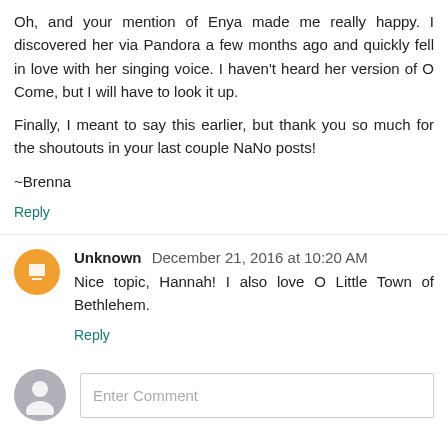Oh, and your mention of Enya made me really happy. I discovered her via Pandora a few months ago and quickly fell in love with her singing voice. I haven't heard her version of O Come, but I will have to look it up.
Finally, I meant to say this earlier, but thank you so much for the shoutouts in your last couple NaNo posts!
~Brenna
Reply
Unknown  December 21, 2016 at 10:20 AM
Nice topic, Hannah! I also love O Little Town of Bethlehem.
Reply
Enter Comment